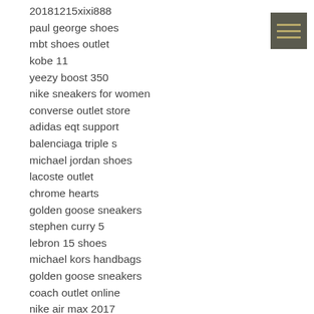20181215xixi888
paul george shoes
mbt shoes outlet
kobe 11
yeezy boost 350
nike sneakers for women
converse outlet store
adidas eqt support
balenciaga triple s
michael jordan shoes
lacoste outlet
chrome hearts
golden goose sneakers
stephen curry 5
lebron 15 shoes
michael kors handbags
golden goose sneakers
coach outlet online
nike air max 2017
birkin bag
yeezy
off white hoodie
nike flyknit racer
nike flyknit
yeezy boost 350
retro jordans
air max 270
nike react
goyard bags
[Figure (other): Hamburger menu icon with three horizontal lines on dark olive/gray background]